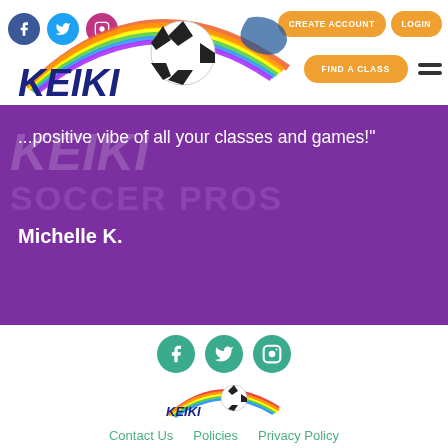[Figure (logo): Keiki Soccer Pros logo with rainbow arc and soccer ball on white header background]
CREATE ACCOUNT   LOGIN
FIND A CLASS
...positive vibe of all your classes and games!"
Michelle K.
[Figure (logo): Footer social icons: Facebook, Twitter, Instagram circles in teal/green]
[Figure (logo): Keiki Soccer Pros small footer logo]
Contact Us   Policies   Privacy Policy